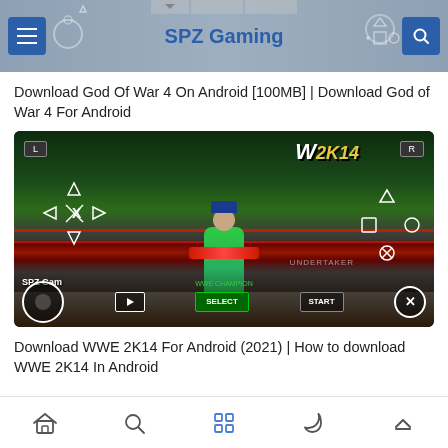SPZ Gaming
Download God Of War 4 On Android [100MB] | Download God of War 4 For Android
[Figure (screenshot): WWE 2K14 mobile game screenshot showing John Cena holding championship belt in WWE ring with PSVITA-style controller overlay. SPZ Gaming watermark visible.]
Download WWE 2K14 For Android (2021) | How to download WWE 2K14 In Android
Home Search Apps Moon Up navigation icons